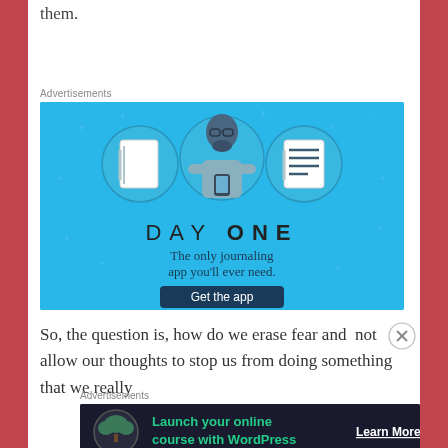them.
Advertisements
[Figure (illustration): Day One journaling app advertisement. Blue background with illustration of a person holding a phone, flanked by icons of a notebook and a list/checklist. Text: DAY ONE - The only journaling app you'll ever need. Button: Get the app]
So, the question is, how do we erase fear and  not allow our thoughts to stop us from doing something that we really
Advertisements
[Figure (illustration): WordPress advertisement banner. Dark background. Circle icon with bonsai tree. Text: Launch your online course with WordPress. Button: Learn More]